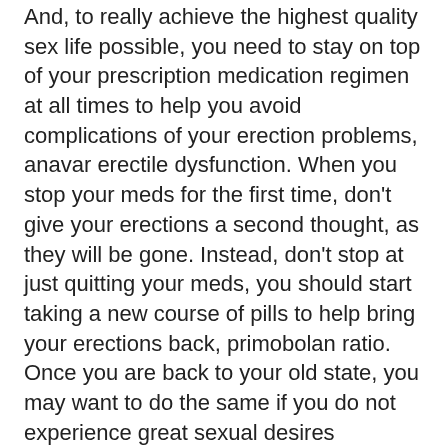And, to really achieve the highest quality sex life possible, you need to stay on top of your prescription medication regimen at all times to help you avoid complications of your erection problems, anavar erectile dysfunction. When you stop your meds for the first time, don't give your erections a second thought, as they will be gone. Instead, don't stop at just quitting your meds, you should start taking a new course of pills to help bring your erections back, primobolan ratio. Once you are back to your old state, you may want to do the same if you do not experience great sexual desires anymore, babies born at 35 weeks after steroid injections.
What are some of the other options you have, to improve your sexual pleasure?
You might also want to read: